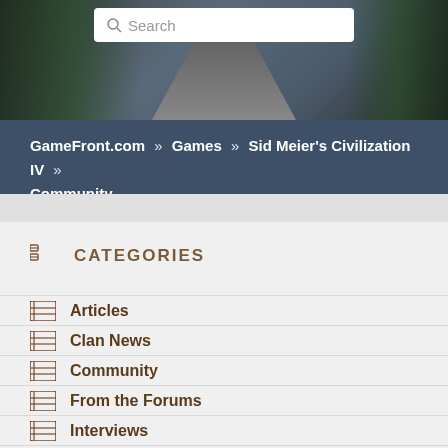[Figure (screenshot): Hero banner image showing a road with trees and landscape in dark tones, with a search bar overlay at the top]
GameFront.com » Games » Sid Meier's Civilization IV » Community
CATEGORIES
Articles
Clan News
Community
From the Forums
Interviews
More